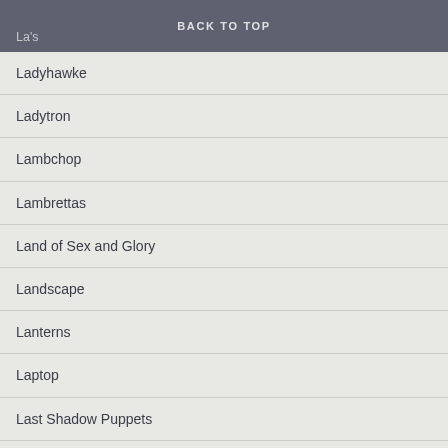BACK TO TOP
La's
Ladyhawke
Ladytron
Lambchop
Lambrettas
Land of Sex and Glory
Landscape
Lanterns
Laptop
Last Shadow Puppets
Late Of The Pier
Latimer
Laugh